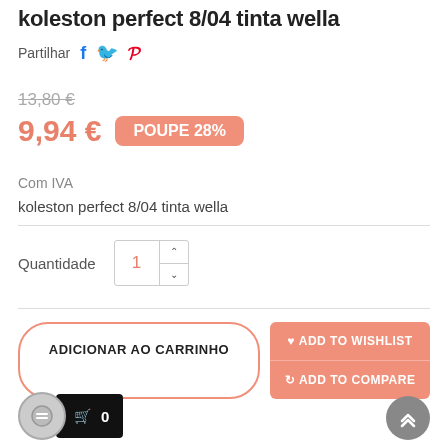koleston perfect 8/04 tinta wella
Partilhar
13,80 €
9,94 € POUPE 28%
Com IVA
koleston perfect 8/04 tinta wella
Quantidade 1
ADICIONAR AO CARRINHO
♥ ADD TO WISHLIST
⇄ ADD TO COMPARE
🛒 0